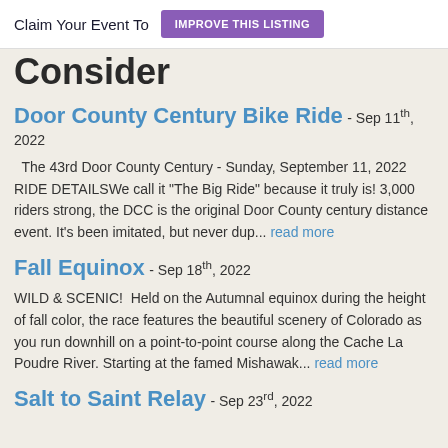Claim Your Event To  IMPROVE THIS LISTING
Consider
Door County Century Bike Ride - Sep 11th, 2022
The 43rd Door County Century - Sunday, September 11, 2022 RIDE DETAILSWe call it "The Big Ride" because it truly is! 3,000 riders strong, the DCC is the original Door County century distance event. It's been imitated, but never dup... read more
Fall Equinox - Sep 18th, 2022
WILD & SCENIC!  Held on the Autumnal equinox during the height of fall color, the race features the beautiful scenery of Colorado as you run downhill on a point-to-point course along the Cache La Poudre River. Starting at the famed Mishawak... read more
Salt to Saint Relay - Sep 23rd, 2022